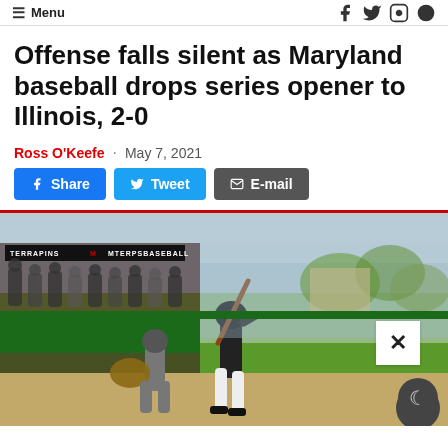Menu
Offense falls silent as Maryland baseball drops series opener to Illinois, 2-0
Ross O'Keefe · May 7, 2021
[Figure (photo): Maryland baseball batter in batting stance at home plate with catcher crouching behind, dugout full of players watching in background, outdoor baseball field]